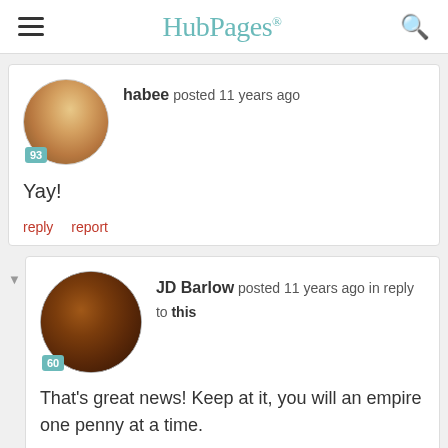HubPages
habee posted 11 years ago

Yay!

reply   report
JD Barlow posted 11 years ago in reply to this

That's great news! Keep at it, you will an empire one penny at a time.